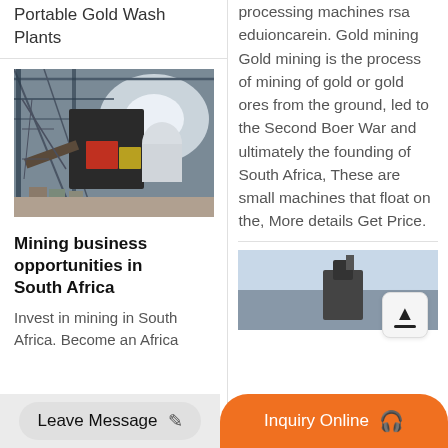Processing Plants Portable Gold Wash Plants
[Figure (photo): Industrial mining equipment inside a warehouse/shed with metal framework structure, conveyor, and barrels/containers on the ground]
Mining business opportunities in South Africa
Invest in mining in South Africa. Become an Africa
processing machines rsa eduioncarein. Gold mining Gold mining is the process of mining of gold or gold ores from the ground, led to the Second Boer War and ultimately the founding of South Africa, These are small machines that float on the, More details Get Price.
[Figure (photo): Partial view of mining machinery against a light sky background]